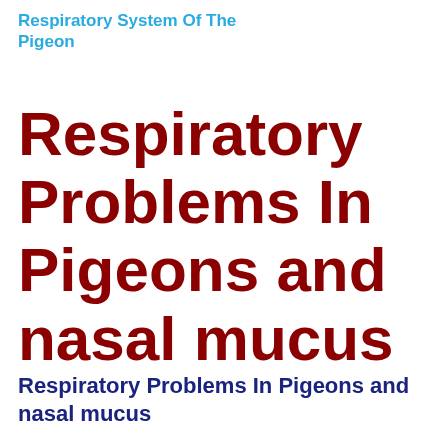Respiratory System Of The Pigeon
Respiratory Problems In Pigeons and nasal mucus
Respiratory Problems In Pigeons and nasal mucus